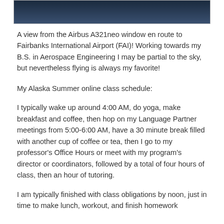[Figure (photo): Dark aerial/sky photo taken from an airplane window, showing a dark blue-grey sky or landscape view en route to Fairbanks International Airport.]
A view from the Airbus A321neo window en route to Fairbanks International Airport (FAI)! Working towards my B.S. in Aerospace Engineering I may be partial to the sky, but nevertheless flying is always my favorite!
My Alaska Summer online class schedule:
I typically wake up around 4:00 AM, do yoga, make breakfast and coffee, then hop on my Language Partner meetings from 5:00-6:00 AM, have a 30 minute break filled with another cup of coffee or tea, then I go to my professor's Office Hours or meet with my program's director or coordinators, followed by a total of four hours of class, then an hour of tutoring.
I am typically finished with class obligations by noon, just in time to make lunch, workout, and finish homework